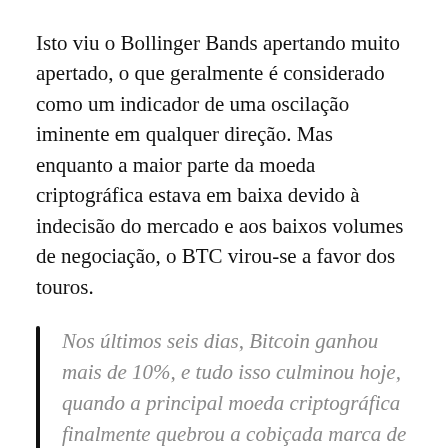Isto viu o Bollinger Bands apertando muito apertado, o que geralmente é considerado como um indicador de uma oscilação iminente em qualquer direção. Mas enquanto a maior parte da moeda criptográfica estava em baixa devido à indecisão do mercado e aos baixos volumes de negociação, o BTC virou-se a favor dos touros.
Nos últimos seis dias, Bitcoin ganhou mais de 10%, e tudo isso culminou hoje, quando a principal moeda criptográfica finalmente quebrou a cobiçada marca de 10.000 dólares. Atingiu a marca de $10.111 no Binance antes de voltar ligeiramente para onde